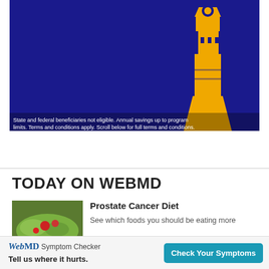[Figure (illustration): Advertisement image with dark navy blue background and a large golden/orange lighthouse silhouette on the right side. Small disclaimer text at bottom: 'State and federal beneficiaries not eligible. Annual savings up to program limits. Terms and conditions apply. Scroll below for full terms and conditions.']
TODAY ON WEBMD
[Figure (photo): Thumbnail photo of a salad/food dish with green and red ingredients]
Prostate Cancer Diet
See which foods you should be eating more
ADVERTISEMENT
WebMD Symptom Checker
Tell us where it hurts.
Check Your Symptoms